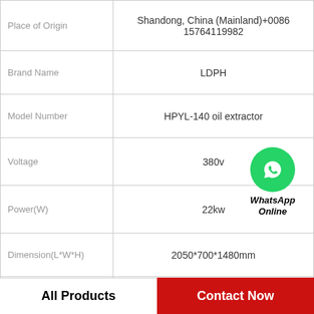| Property | Value |
| --- | --- |
| Place of Origin | Shandong, China (Mainland)+0086 15764119982 |
| Brand Name | LDPH |
| Model Number | HPYL-140 oil extractor |
| Voltage | 380v |
| Power(W) | 22kw |
| Dimension(L*W*H) | 2050*700*1480mm |
| Weight | 950kg |
| Certification | CE ISO SGS |
WhatsApp Online
All Products   Contact Now